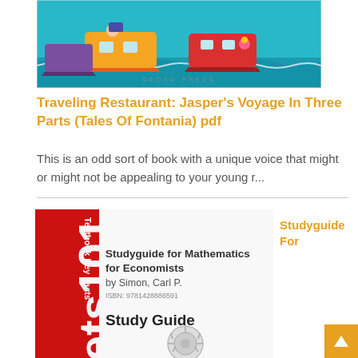[Figure (illustration): Colorful illustrated book cover with boats and characters on water, 'GECKO PRESS' text visible at bottom]
Traveling Restaurant: Jasper's Voyage In Three Parts (Tales Of Fontania) pdf
This is an odd sort of book with a unique voice that might or might not be appealing to your young r...
[Figure (illustration): Studyguide for Mathematics for Economists by Simon, Carl P. ISBN: 9781428886591 — Study Guide book cover with red text 'ets101 Textbook Key Facts' and a maze/puzzle graphic]
Studyguide For